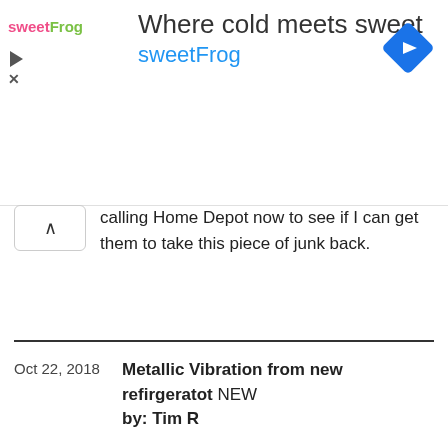[Figure (logo): sweetFrog advertisement banner with logo, headline 'Where cold meets sweet', brand name 'sweetFrog', navigation arrow diamond icon, play and close icons]
calling Home Depot now to see if I can get them to take this piece of junk back.
Oct 22, 2018  Metallic Vibration from new refirgeratot NEW
by: Tim R

I purchased a new Whirlpool refrigerator from Lowes on August 15th. Its the fridge on top freezer on bottom version. I keep hearing this metallic vibration sound from constant to intermittently. Its driving me nuts and I know this is not normal. So I call Whirlpool customer service and they have a local technician come out. I actually recorded the sound on my phone. He initially said yes, that is not a normal sound. He spends a couple of